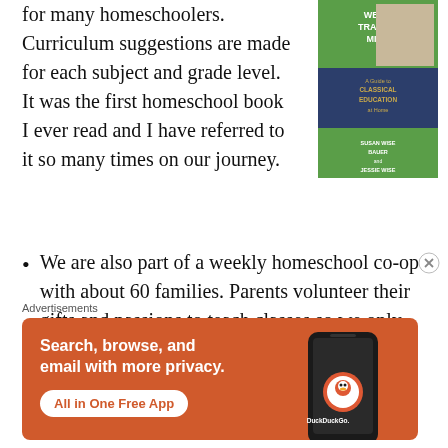for many homeschoolers. Curriculum suggestions are made for each subject and grade level. It was the first homeschool book I ever read and I have referred to it so many times on our journey.
[Figure (photo): Book cover of 'The Well-Trained Mind: A Guide to Classical Education at Home' by Susan Wise Bauer and Jessie Wise]
We are also part of a weekly homeschool co-op with about 60 families. Parents volunteer their gifts and passions to teach classes so we only pay for supplies. We do
Advertisements
[Figure (infographic): DuckDuckGo advertisement banner. Text: 'Search, browse, and email with more privacy. All in One Free App'. Shows a phone with DuckDuckGo logo.]